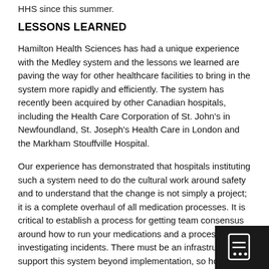HHS since this summer.
LESSONS LEARNED
Hamilton Health Sciences has had a unique experience with the Medley system and the lessons we learned are paving the way for other healthcare facilities to bring in the system more rapidly and efficiently. The system has recently been acquired by other Canadian hospitals, including the Health Care Corporation of St. John's in Newfoundland, St. Joseph's Health Care in London and the Markham Stouffville Hospital.
Our experience has demonstrated that hospitals instituting such a system need to do the cultural work around safety and to understand that the change is not simply a project; it is a complete overhaul of all medication processes. It is critical to establish a process for getting team consensus around how to run your medications and a process for investigating incidents. There must be an infrastructure to support this system beyond implementation, so hospitals can continually learn from failures and make safety enhancements.
[Figure (illustration): Dark icon block in bottom-right corner showing a document/report icon with dots]